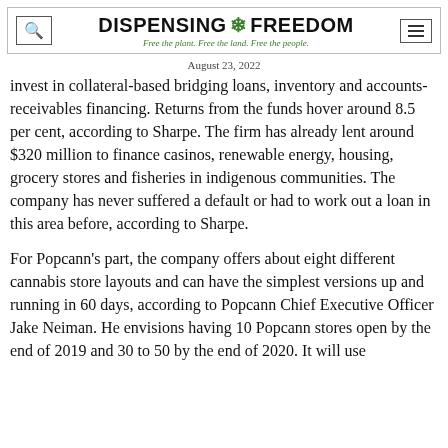DISPENSING FREEDOM — Free the plant. Free the land. Free the people.
August 23, 2022
invest in collateral-based bridging loans, inventory and accounts-receivables financing. Returns from the funds hover around 8.5 per cent, according to Sharpe. The firm has already lent around $320 million to finance casinos, renewable energy, housing, grocery stores and fisheries in indigenous communities. The company has never suffered a default or had to work out a loan in this area before, according to Sharpe.
For Popcann's part, the company offers about eight different cannabis store layouts and can have the simplest versions up and running in 60 days, according to Popcann Chief Executive Officer Jake Neiman. He envisions having 10 Popcann stores open by the end of 2019 and 30 to 50 by the end of 2020. It will use